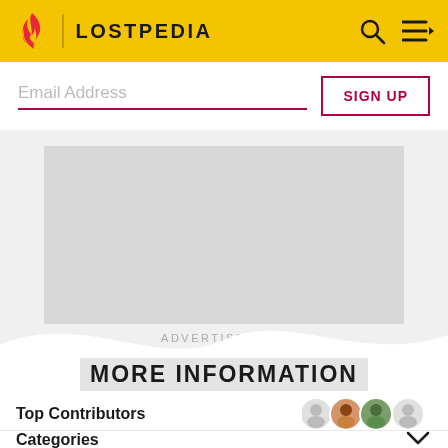LOSTPEDIA
Email Address
SIGN UP
[Figure (other): Gray advertisement placeholder rectangle]
ADVERTISEMENT
MORE INFORMATION
Top Contributors
Categories